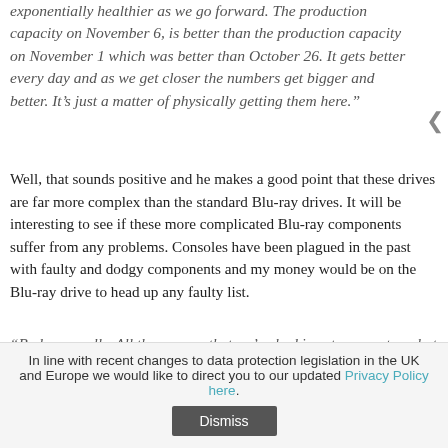exponentially healthier as we go forward. The production capacity on November 6, is better than the production capacity on November 1 which was better than October 26. It gets better every day and as we get closer the numbers get bigger and better. It’s just a matter of physically getting them here.”
Well, that sounds positive and he makes a good point that these drives are far more complex than the standard Blu-ray drives. It will be interesting to see if these more complicated Blu-ray components suffer from any problems. Consoles have been plagued in the past with faulty and dodgy components and my money would be on the Blu-ray drive to head up any faulty list.
“Bad news sells. All the success that we’ve had is not a sexy story, but any missteps that we’ve had is a story.
In line with recent changes to data protection legislation in the UK and Europe we would like to direct you to our updated Privacy Policy here.
Dismiss